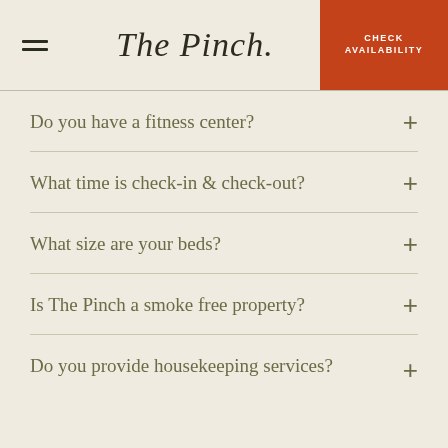The Pinch. | CHECK AVAILABILITY
Do you have a fitness center?
What time is check-in & check-out?
What size are your beds?
Is The Pinch a smoke free property?
Do you provide housekeeping services?